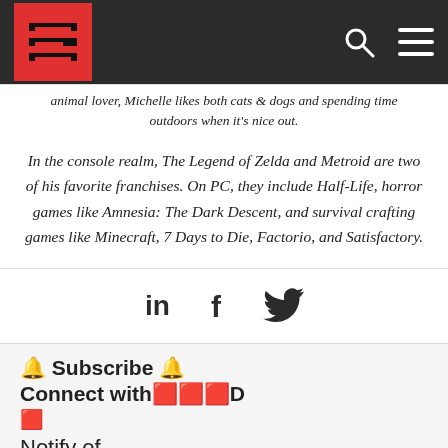[Site logo and navigation bar with search and menu icons]
animal lover, Michelle likes both cats & dogs and spending time outdoors when it's nice out.
In the console realm, The Legend of Zelda and Metroid are two of his favorite franchises. On PC, they include Half-Life, horror games like Amnesia: The Dark Descent, and survival crafting games like Minecraft, 7 Days to Die, Factorio, and Satisfactory.
[Figure (other): Social media icons: LinkedIn, Facebook, Twitter]
🔔 Subscribe 🔔
Connect with🔲🔲🔲D
🔲
Notify of
new follow-up con [dropdown]
Email [input field]